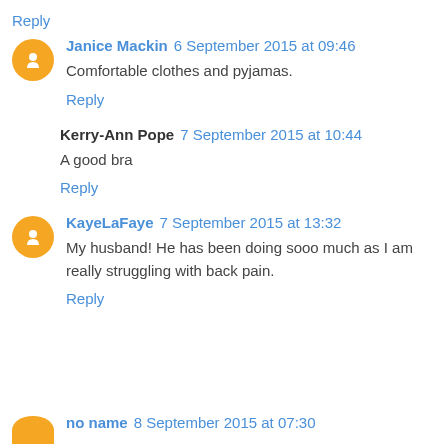Reply
Janice Mackin  6 September 2015 at 09:46
Comfortable clothes and pyjamas.
Reply
Kerry-Ann Pope  7 September 2015 at 10:44
A good bra
Reply
KayeLaFaye  7 September 2015 at 13:32
My husband! He has been doing sooo much as I am really struggling with back pain.
Reply
no name  8 September 2015 at 07:30